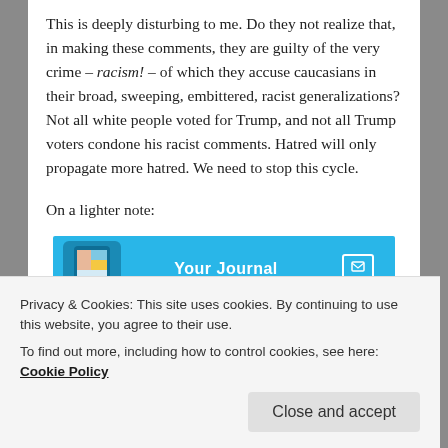This is deeply disturbing to me. Do they not realize that, in making these comments, they are guilty of the very crime – racism! – of which they accuse caucasians in their broad, sweeping, embittered, racist generalizations? Not all white people voted for Trump, and not all Trump voters condone his racist comments. Hatred will only propagate more hatred. We need to stop this cycle.
On a lighter note:
[Figure (other): Advertisement banner for DayOne app: 'Your Journal for life' on a blue background with a phone image on the left and DayOne logo on the right.]
Privacy & Cookies: This site uses cookies. By continuing to use this website, you agree to their use.
To find out more, including how to control cookies, see here: Cookie Policy